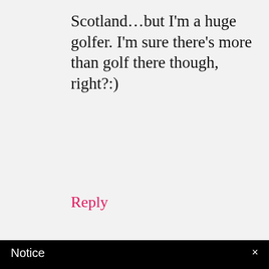Scotland…but I'm a huge golfer. I'm sure there's more than golf there though, right?:)
Reply
Notice
This website or its third-party tools use cookies, which are necessary to its functioning and required to achieve the purposes illustrated in the cookie policy. If you want to know more or withdraw your consent to all or some of the cookies, please refer to the cookie policy.
By closing this banner, scrolling this page, clicking a link or continuing to browse otherwise, you agree to the
Back To Top